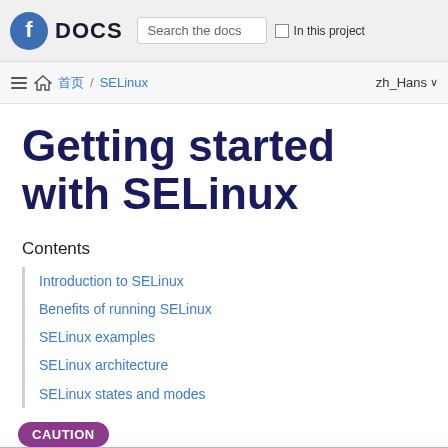Fedora DOCS | Search the docs | In this project
≡ 🏠 首页 / SELinux  zh_Hans ∨
Getting started with SELinux
Contents
Introduction to SELinux
Benefits of running SELinux
SELinux examples
SELinux architecture
SELinux states and modes
CAUTION